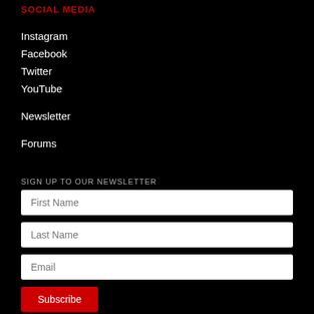SOCIAL MEDIA
Instagram
Facebook
Twitter
YouTube
Newsletter
Forums
SIGN UP TO OUR NEWSLETTER
First Name
Last Name
Email